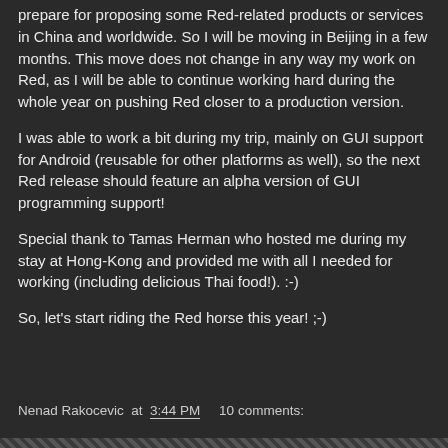prepare for proposing some Red-related products or services in China and worldwide. So I will be moving in Beijing in a few months. This move does not change in any way my work on Red, as I will be able to continue working hard during the whole year on pushing Red closer to a production version.
I was able to work a bit during my trip, mainly on GUI support for Android (reusable for other platforms as well), so the next Red release should feature an alpha version of GUI programming support!
Special thank to Tamas Herman who hosted me during my stay at Hong-Kong and provided me with all I needed for working (including delicious Thai food!). :-)
So, let's start riding the Red horse this year! ;-)
Nenad Rakocevic at 3:44 PM   10 comments: